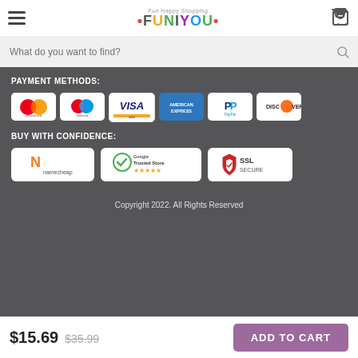Fun Happy Shopping FUNIYOU
What do you want to find?
PAYMENT METHODS:
[Figure (logo): Payment method logos: Mastercard, Maestro, Visa, American Express, PayPal, Discover]
BUY WITH CONFIDENCE:
[Figure (logo): Trust badges: namecheap, Trusted Store (5 stars), SSL SECURE]
Copyright 2022. All Rights Reserved
$15.69  $35.99  ADD TO CART